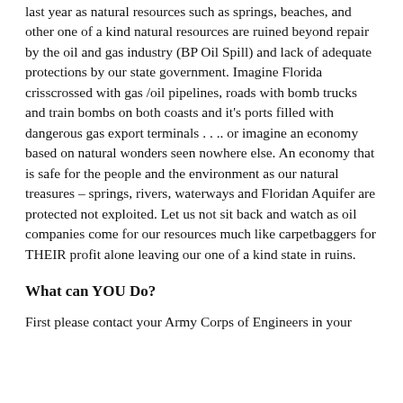last year as natural resources such as springs, beaches, and other one of a kind natural resources are ruined beyond repair by the oil and gas industry (BP Oil Spill) and lack of adequate protections by our state government. Imagine Florida crisscrossed with gas /oil pipelines, roads with bomb trucks and train bombs on both coasts and it's ports filled with dangerous gas export terminals . . .. or imagine an economy based on natural wonders seen nowhere else. An economy that is safe for the people and the environment as our natural treasures – springs, rivers, waterways and Floridan Aquifer are protected not exploited. Let us not sit back and watch as oil companies come for our resources much like carpetbaggers for THEIR profit alone leaving our one of a kind state in ruins.
What can YOU Do?
First please contact your Army Corps of Engineers in your